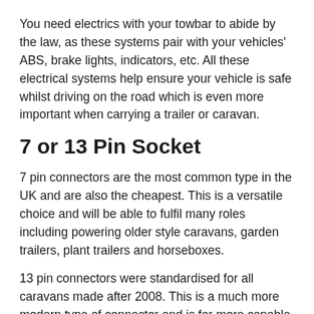You need electrics with your towbar to abide by the law, as these systems pair with your vehicles' ABS, brake lights, indicators, etc. All these electrical systems help ensure your vehicle is safe whilst driving on the road which is even more important when carrying a trailer or caravan.
7 or 13 Pin Socket
7 pin connectors are the most common type in the UK and are also the cheapest. This is a versatile choice and will be able to fulfil many roles including powering older style caravans, garden trailers, plant trailers and horseboxes.
13 pin connectors were standardised for all caravans made after 2008. This is a much more modern type of connector and is far more capable than a typical 7 pin. You can power the interior and exterior lights of a